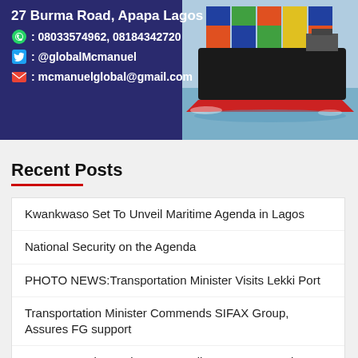[Figure (photo): Banner advertisement for a shipping company. Dark blue/purple background with a large container ship on the right side. Text reads: 27 Burma Road, Apapa Lagos, phone numbers 08033574962 and 08184342720, Twitter @globalMcmanuel, email mcmanuelglobal@gmail.com]
Recent Posts
Kwankwaso Set To Unveil Maritime Agenda in Lagos
National Security on the Agenda
PHOTO NEWS:Transportation Minister Visits Lekki Port
Transportation Minister Commends SIFAX Group, Assures FG support
SON DG Tasks Engineers On Adherence To Standards Execution Of Projects